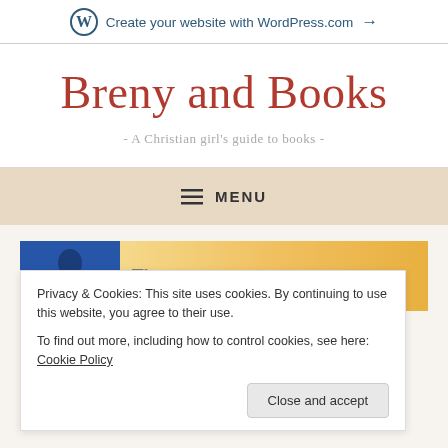Create your website with WordPress.com →
Breny and Books
- A Christian girl's guide to books -
≡ MENU
[Figure (photo): Partial book cover with woman on blue background and cursive title text on golden/yellow background]
Privacy & Cookies: This site uses cookies. By continuing to use this website, you agree to their use.
To find out more, including how to control cookies, see here: Cookie Policy
The Strands Fra J...